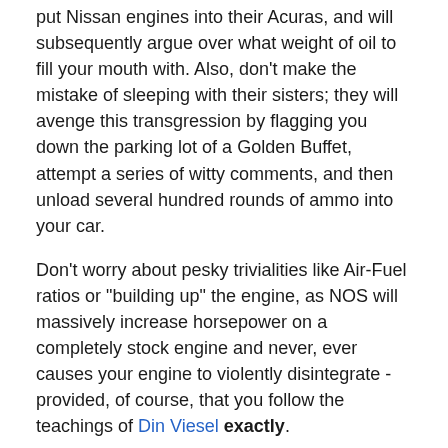put Nissan engines into their Acuras, and will subsequently argue over what weight of oil to fill your mouth with. Also, don't make the mistake of sleeping with their sisters; they will avenge this transgression by flagging you down the parking lot of a Golden Buffet, attempt a series of witty comments, and then unload several hundred rounds of ammo into your car.
Don't worry about pesky trivialities like Air-Fuel ratios or "building up" the engine, as NOS will massively increase horsepower on a completely stock engine and never, ever causes your engine to violently disintegrate - provided, of course, that you follow the teachings of Din Viesel exactly.
[Figure (photo): A red classic car driving in a snowy parking lot or road, with snow-covered evergreen trees and a building visible in the background.]